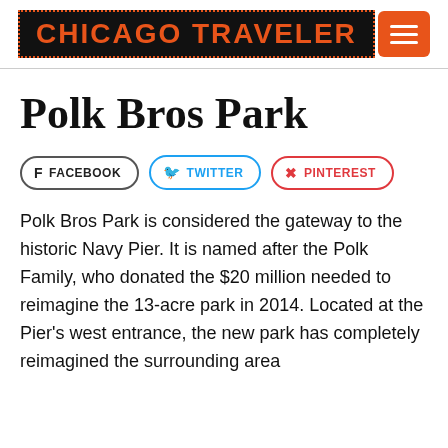CHICAGO TRAVELER
Polk Bros Park
FACEBOOK   TWITTER   PINTEREST
Polk Bros Park is considered the gateway to the historic Navy Pier. It is named after the Polk Family, who donated the $20 million needed to reimagine the 13-acre park in 2014. Located at the Pier's west entrance, the new park has completely reimagined the surrounding area